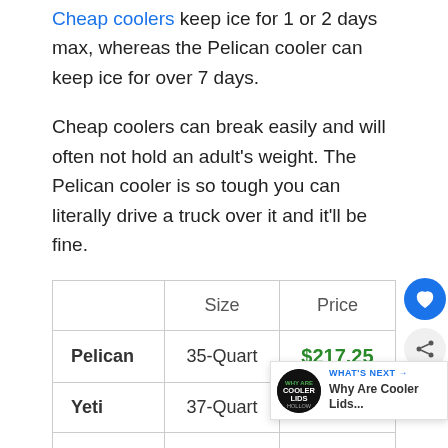Cheap coolers keep ice for 1 or 2 days max, whereas the Pelican cooler can keep ice for over 7 days.
Cheap coolers can break easily and will often not hold an adult's weight. The Pelican cooler is so tough you can literally drive a truck over it and it'll be fine.
|  | Size | Price |
| --- | --- | --- |
| Pelican | 35-Quart | $217.25 |
| Yeti | 37-Quart | $3... |